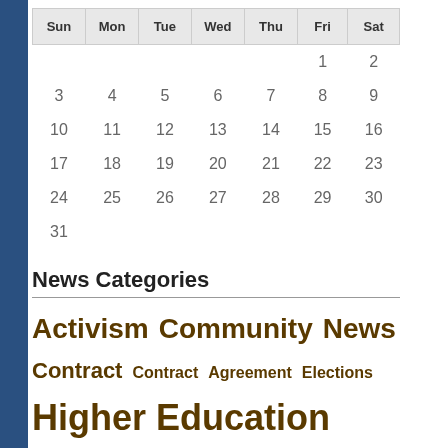| Sun | Mon | Tue | Wed | Thu | Fri | Sat |
| --- | --- | --- | --- | --- | --- | --- |
|  |  |  |  |  | 1 | 2 |
| 3 | 4 | 5 | 6 | 7 | 8 | 9 |
| 10 | 11 | 12 | 13 | 14 | 15 | 16 |
| 17 | 18 | 19 | 20 | 21 | 22 | 23 |
| 24 | 25 | 26 | 27 | 28 | 29 | 30 |
| 31 |  |  |  |  |  |  |
News Categories
Activism
Community News
Contract
Contract Agreement
Elections
Higher Education
Inside